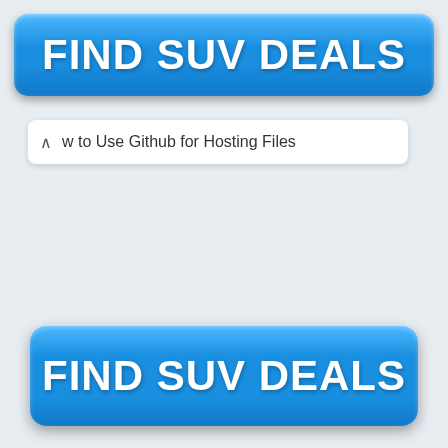[Figure (screenshot): Blue rounded button with white bold text reading FIND SUV DEALS at top of page]
w to Use Github for Hosting Files
[Figure (screenshot): Blue rounded button with white bold text reading FIND SUV DEALS at bottom of page]